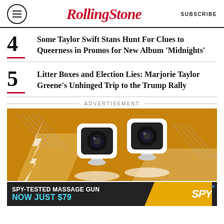RollingStone — SUBSCRIBE
Some Taylor Swift Stans Hunt For Clues to Queerness in Promos for New Album 'Midnights'
Litter Boxes and Election Lies: Marjorie Taylor Greene's Unhinged Trip to the Trump Rally
ADVERTISEMENT
[Figure (photo): Advertisement showing two Blink mini security cameras on a golden/amber background with diagonal lines]
[Figure (photo): Bottom banner advertisement: SPY-TESTED MASSAGE GUN NOW JUST $79 with SPY logo on yellow background]